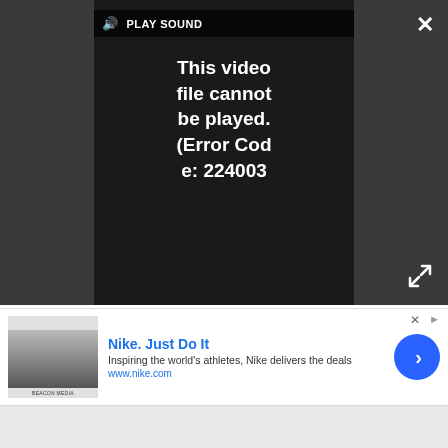[Figure (screenshot): Video player overlay showing error message 'This video file cannot be played. (Error Code: 224003)' with PLAY SOUND button, close X button, and expand icon on dark background.]
and will carry a US$300 price tag.
Long-time shoemaker D2 was in attendance with its collection of road, triathlon and mountain bike footwear. D2 says its 'best fit option' with 41 sizes, nine widths, and two last shapes will fit nearly everyone but riders with more particular needs can also opt for temporary last modifications to accommodate anomalies such as bunions, fully
[Figure (screenshot): Nike advertisement banner: 'Nike. Just Do It' with text 'Inspiring the world's athletes, Nike delivers the deals' and URL www.nike.com, with a product image on the left and blue arrow button on the right.]